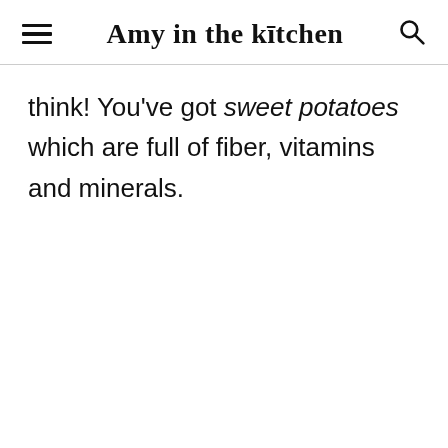Amy in the kitchen
think! You've got sweet potatoes which are full of fiber, vitamins and minerals.